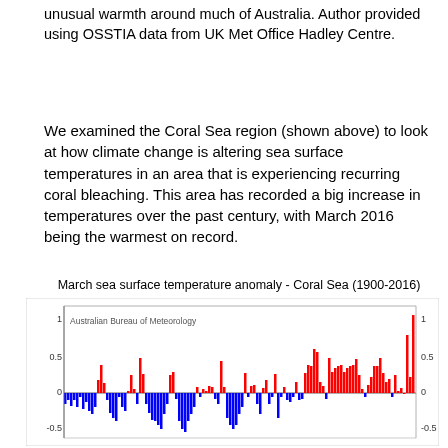unusual warmth around much of Australia. Author provided using OSSTIA data from UK Met Office Hadley Centre.
We examined the Coral Sea region (shown above) to look at how climate change is altering sea surface temperatures in an area that is experiencing recurring coral bleaching. This area has recorded a big increase in temperatures over the past century, with March 2016 being the warmest on record.
[Figure (bar-chart): Bar chart showing March sea surface temperature anomaly for the Coral Sea from 1900 to 2016. Blue bars represent negative anomalies (below average), red bars represent positive anomalies (above average). The chart shows an increase in positive anomalies in recent decades, with March 2016 being the highest at approximately 1.1°C. Y-axis ranges from approximately -0.5 to above 1.0°C. Labeled by Australian Bureau of Meteorology.]